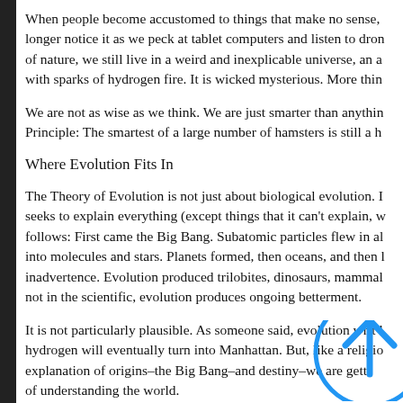When people become accustomed to things that make no sense, they no longer notice it as we peck at tablet computers and listen to drones. Short of nature, we still live in a weird and inexplicable universe, an a... with sparks of hydrogen fire. It is wicked mysterious. More thin...
We are not as wise as we think. We are just smarter than anythin... Principle: The smartest of a large number of hamsters is still a h...
Where Evolution Fits In
The Theory of Evolution is not just about biological evolution. It seeks to explain everything (except things that it can't explain, w... follows: First came the Big Bang. Subatomic particles flew in al... into molecules and stars. Planets formed, then oceans, and then l... inadvertence. Evolution produced trilobites, dinosaurs, mammal... not in the scientific, evolution produces ongoing betterment.
It is not particularly plausible. As someone said, evolution writ l... hydrogen will eventually turn into Manhattan. But, like a religio... explanation of origins–the Big Bang–and destiny–we are gett... of understanding the world.
In this it serves the purposes of a religion and is treated as such l... questioning with anger and they see their hated opponents as Cr... edition. More than this it is the Internet Market Trial of All...